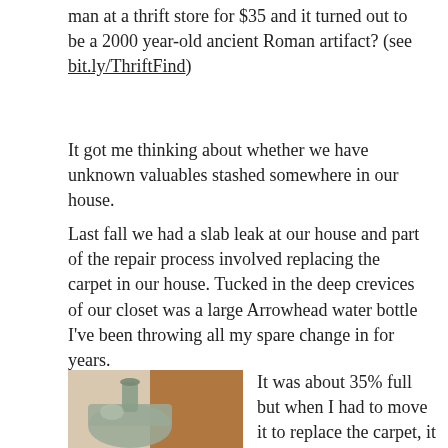man at a thrift store for $35 and it turned out to be a 2000 year-old ancient Roman artifact? (see bit.ly/ThriftFind)
It got me thinking about whether we have unknown valuables stashed somewhere in our house.
Last fall we had a slab leak at our house and part of the repair process involved replacing the carpet in our house. Tucked in the deep crevices of our closet was a large Arrowhead water bottle I've been throwing all my spare change in for years.
[Figure (photo): Photo of a large round glass jug/bottle with a narrow neck, greenish-grey tinted, sitting against a wooden cabinet background]
It was about 35% full but when I had to move it to replace the carpet, it was so heavy I thought